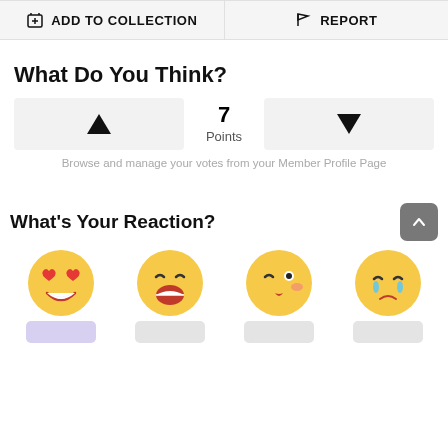[Figure (infographic): Two buttons: ADD TO COLLECTION (with plus/collection icon) and REPORT (with flag icon), styled as gray rectangular buttons side by side]
What Do You Think?
[Figure (infographic): Voting widget with upvote button (triangle up), 7 Points in center, and downvote button (triangle down)]
Browse and manage your votes from your Member Profile Page
What's Your Reaction?
[Figure (infographic): Four emoji reaction icons: heart-eyes, laughing, winking kiss, crying/sobbing, each with a colored label box below]
[Figure (infographic): Scroll to top button (arrow up in gray rounded square), positioned top right of reaction section]